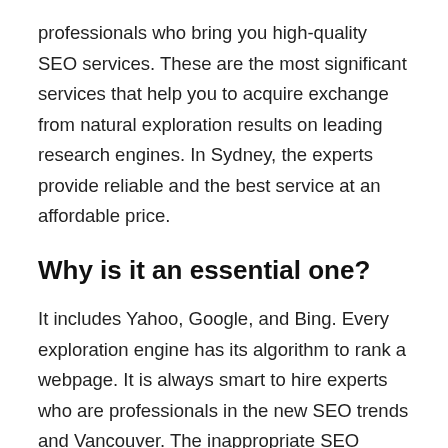professionals who bring you high-quality SEO services. These are the most significant services that help you to acquire exchange from natural exploration results on leading research engines. In Sydney, the experts provide reliable and the best service at an affordable price.
Why is it an essential one?
It includes Yahoo, Google, and Bing. Every exploration engine has its algorithm to rank a webpage. It is always smart to hire experts who are professionals in the new SEO trends and Vancouver. The inappropriate SEO process can reduce the performance of your site. There are lots of strategies that are needed to increase the webpage rank that includes off-page, on-page, and on-